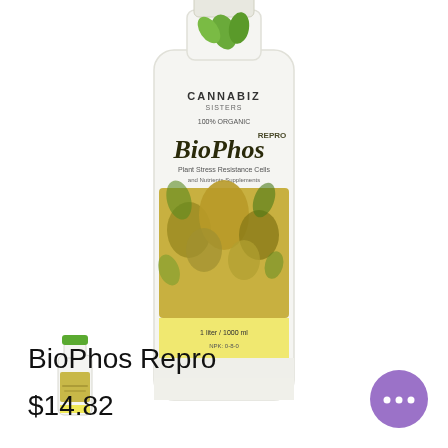[Figure (photo): Large white bottle of Cannabiz BioPhos Repro plant nutrient product with green cannabis leaf branding and a yellow-green label showing cannabis flowers.]
[Figure (photo): Small thumbnail image of a small white bottle with green cap, same BioPhos Repro product in a smaller size.]
BioPhos Repro
$14.82